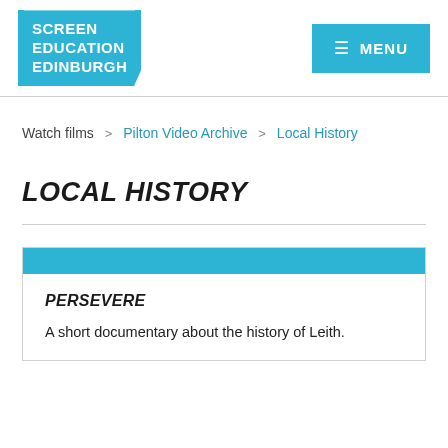[Figure (logo): Screen Education Edinburgh logo — teal/cyan background with white bold uppercase text 'SCREEN EDUCATION EDINBURGH']
[Figure (other): Menu button — teal/cyan background with hamburger icon and 'MENU' text in white uppercase]
Watch films  >  Pilton Video Archive  >  Local History
LOCAL HISTORY
PERSEVERE
A short documentary about the history of Leith.